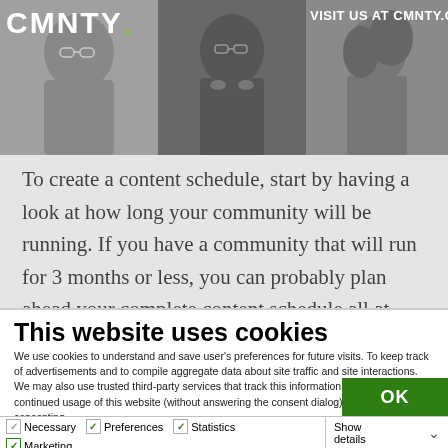CMNTY. VISIT US AT CMNTY.COM
To create a content schedule, start by having a look at how long your community will be running. If you have a community that will run for 3 months or less, you can probably plan ahead your complete content schedule all at once. Remember,
This website uses cookies
We use cookies to understand and save user's preferences for future visits. To keep track of advertisements and to compile aggregate data about site traffic and site interactions. We may also use trusted third-party services that track this information on our behalf. A continued usage of this website (without answering the consent dialog) is the same as consenting.
OK
Necessary  Preferences  Statistics  Marketing  Show details